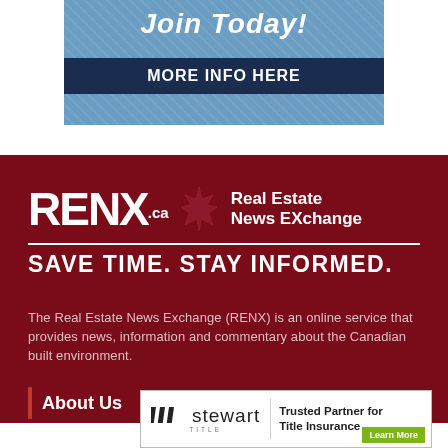[Figure (infographic): Top banner with blue background showing 'Join Today!' in large bold italic white text and a dark navy bar with 'MORE INFO HERE' text]
[Figure (logo): RENX.ca Real Estate News Exchange logo with maple leaf on dark red background, with tagline SAVE TIME. STAY INFORMED.]
The Real Estate News Exchange (RENX) is an online service that provides news, information and commentary about the Canadian built environment.
About Us
[Figure (infographic): Stewart Title advertisement: Trusted Partner for Title Insurance with Learn More button]